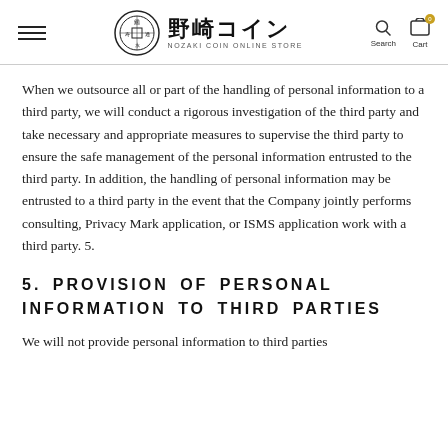野崎コイン NOZAKI COIN ONLINE STORE
When we outsource all or part of the handling of personal information to a third party, we will conduct a rigorous investigation of the third party and take necessary and appropriate measures to supervise the third party to ensure the safe management of the personal information entrusted to the third party. In addition, the handling of personal information may be entrusted to a third party in the event that the Company jointly performs consulting, Privacy Mark application, or ISMS application work with a third party. 5.
5. PROVISION OF PERSONAL INFORMATION TO THIRD PARTIES
We will not provide personal information to third parties